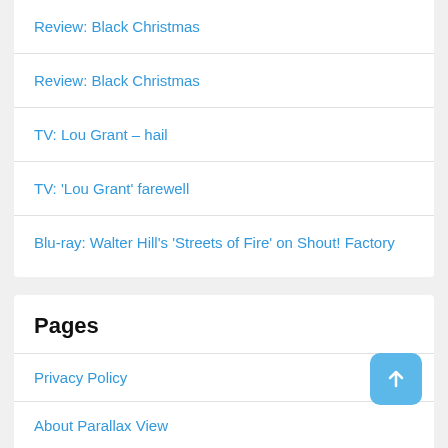Review: Black Christmas
Review: Black Christmas
TV: Lou Grant – hail
TV: 'Lou Grant' farewell
Blu-ray: Walter Hill's 'Streets of Fire' on Shout! Factory
Pages
Privacy Policy
About Parallax View